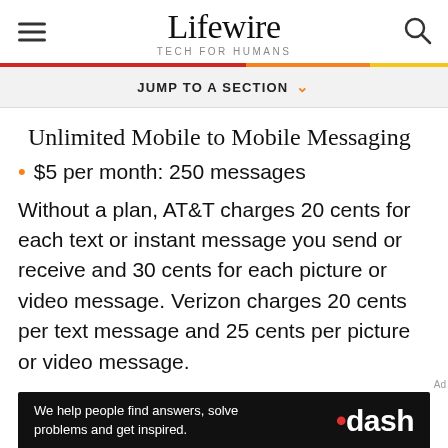Lifewire TECH FOR HUMANS
JUMP TO A SECTION
Unlimited Mobile to Mobile Messaging
$5 per month: 250 messages
Without a plan, AT&T charges 20 cents for each text or instant message you send or receive and 30 cents for each picture or video message. Verizon charges 20 cents per text message and 25 cents per picture or video message.
[Figure (other): Advertisement banner for .dash with text: We help people find answers, solve problems and get inspired.]